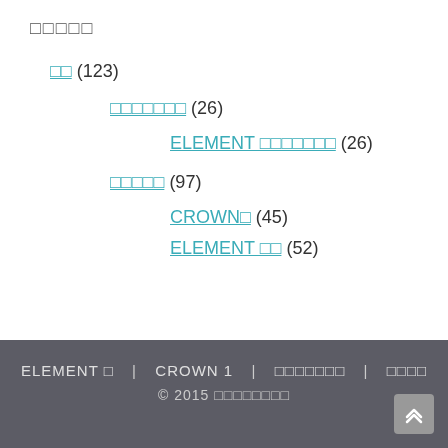□□□□□
□□ (123)
□□□□□□□ (26)
ELEMENT □□□□□□□ (26)
□□□□□ (97)
CROWN□ (45)
ELEMENT □□ (52)
ELEMENT □ | CROWN 1 | □□□□□□□ | □□□□ © 2015 □□□□□□□□